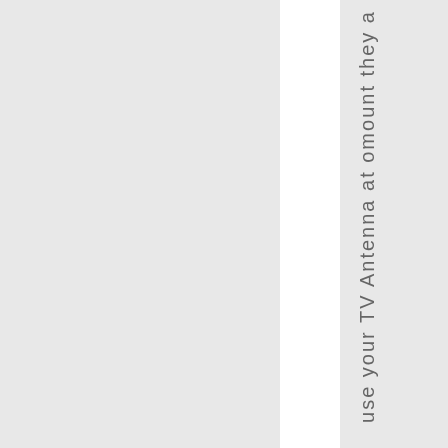use your TV Antenna at omount they a